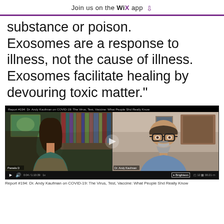Join us on the WiX app
substance or poison. Exosomes are a response to illness, not the cause of illness. Exosomes facilitate healing by devouring toxic matter."
[Figure (screenshot): Video screenshot from Brighteon showing two people in a video call. Title: Report #194: Dr. Andy Kaufman on COVID-19: The Virus, Test, Vaccine: What People Shd Really Know. Left person is a woman with dark hair, right person is a bald man with glasses and a beard. Video controls visible at bottom.]
Report #194: Dr. Andy Kaufman on COVID-19: The Virus, Test, Vaccine: What People Shd Really Know